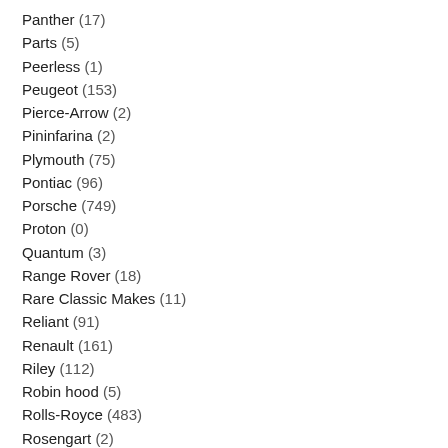Panther (17)
Parts (5)
Peerless (1)
Peugeot (153)
Pierce-Arrow (2)
Pininfarina (2)
Plymouth (75)
Pontiac (96)
Porsche (749)
Proton (0)
Quantum (3)
Range Rover (18)
Rare Classic Makes (11)
Reliant (91)
Renault (161)
Riley (112)
Robin hood (5)
Rolls-Royce (483)
Rosengart (2)